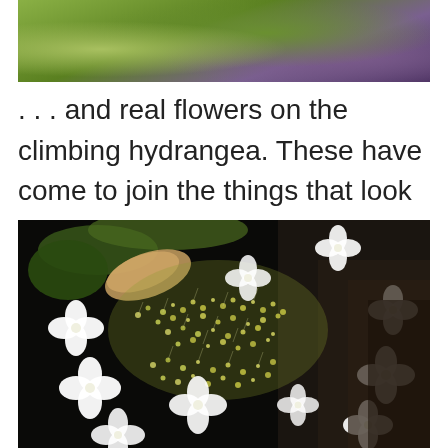[Figure (photo): Close-up photograph of green and purple leafy plant foliage, partially cropped at top of page]
. . . and real flowers on the climbing hydrangea. These have come to join the things that look like petals but are not petals.
[Figure (photo): Close-up photograph of climbing hydrangea flowers showing white lacecap-style florets with four petals surrounding clusters of tiny yellow-green fertile flowers, against a dark background]